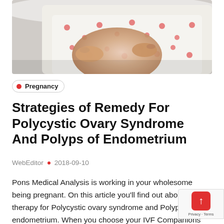[Figure (photo): A person lying in bed holding their pregnant belly, covered with a white fabric with red polka dots pattern]
Pregnancy
Strategies of Remedy For Polycystic Ovary Syndrome And Polyps of Endometrium
WebEditor • 2018-09-10
Pons Medical Analysis is working in your wholesome being pregnant. On this article you'll find out about therapy for Polycystic ovary syndrome and Polyps of endometrium. When you choose your IVF Companions skilled in Assisted Reproductive Expertise you need to make sure the IVF Medical surrogacy supplier can also skilled in numerous being pregnant associated ailments